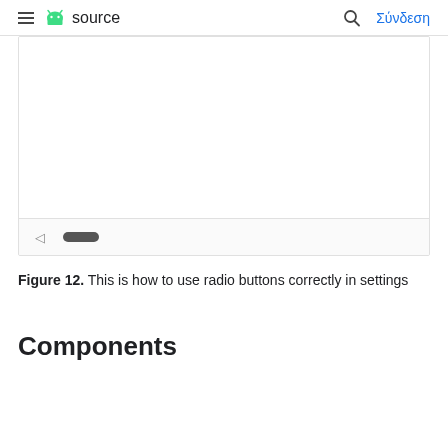≡ source  🔍 Σύνδεση
[Figure (screenshot): Android phone screenshot showing a settings screen with radio buttons. Bottom navigation bar visible with back arrow and home pill button.]
Figure 12. This is how to use radio buttons correctly in settings
Components